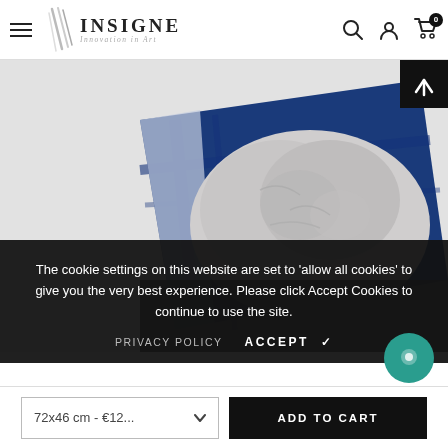INSIGNE Innovation in Art — navigation header with hamburger menu, search, account, and cart icons
[Figure (photo): Product image of an art print featuring a black-and-white elephant on a blue textured background, shown angled as a canvas/glass print]
The cookie settings on this website are set to 'allow all cookies' to give you the very best experience. Please click Accept Cookies to continue to use the site.
PRIVACY POLICY   ACCEPT ✓
72x46 cm - €12...
ADD TO CART